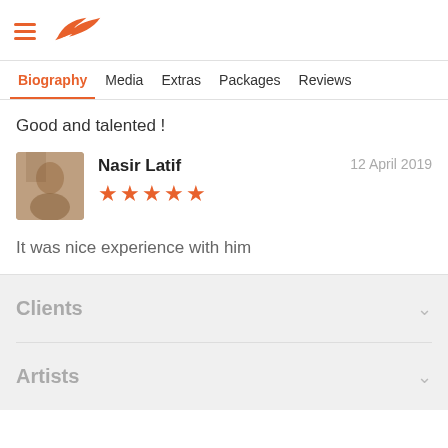Biography | Media | Extras | Packages | Reviews
Good and talented !
Nasir Latif ★★★★★  12 April 2019
It was nice experience with him
Clients
Artists